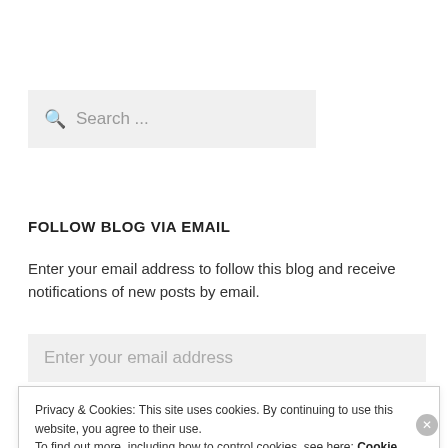[Figure (screenshot): Search input box with magnifying glass icon and placeholder text 'Search ...']
FOLLOW BLOG VIA EMAIL
Enter your email address to follow this blog and receive notifications of new posts by email.
[Figure (screenshot): Email input field with placeholder text 'Enter your email address']
Privacy & Cookies: This site uses cookies. By continuing to use this website, you agree to their use.
To find out more, including how to control cookies, see here: Cookie Policy
Close and accept